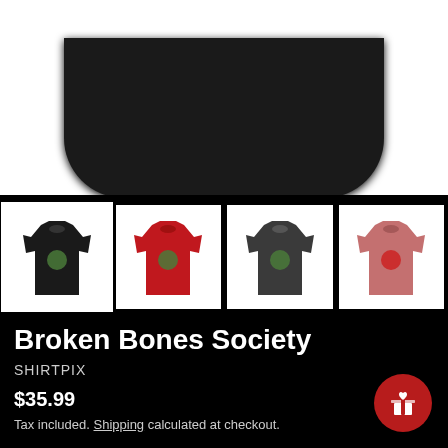[Figure (photo): Main product image showing bottom of a black t-shirt on white background]
[Figure (photo): Row of four t-shirt thumbnail images: black (selected), red, dark grey, rose/pink]
Broken Bones Society
SHIRTPIX
$35.99
Tax included. Shipping calculated at checkout.